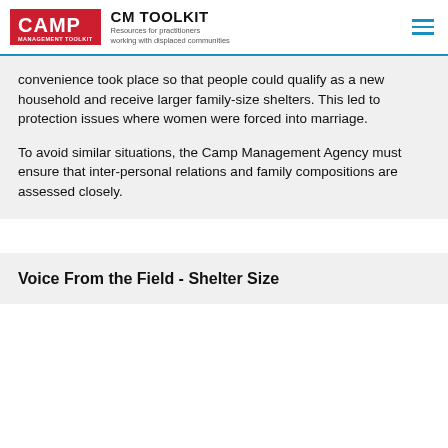CAMP MANAGEMENT TOOLKIT — CM TOOLKIT Resources for practitioners working with displaced communities
convenience took place so that people could qualify as a new household and receive larger family-size shelters. This led to protection issues where women were forced into marriage.
To avoid similar situations, the Camp Management Agency must ensure that inter-personal relations and family compositions are assessed closely.
Voice From the Field - Shelter Size